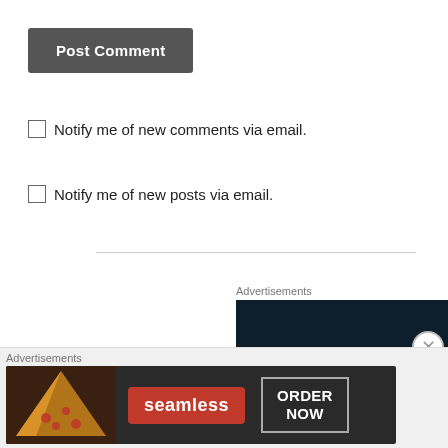Post Comment
Notify me of new comments via email.
Notify me of new posts via email.
Advertisements
[Figure (screenshot): Dark navy advertisement banner reading 'Create surveys, polls,']
Advertisements
[Figure (screenshot): Seamless food delivery advertisement with pizza image, seamless logo, and ORDER NOW button]